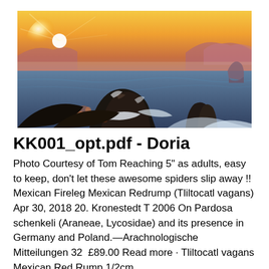[Figure (photo): Coastal ocean scene at sunset/sunrise with large dark rocks in the foreground, waves crashing around them, warm golden light on the horizon with mountains in the background and a misty atmospheric sky.]
KK001_opt.pdf - Doria
Photo Courtesy of Tom Reaching 5" as adults, easy to keep, don't let these awesome spiders slip away !! Mexican Fireleg Mexican Redrump (Tliltocatl vagans) Apr 30, 2018 20. Kronestedt T 2006 On Pardosa schenkeli (Araneae, Lycosidae) and its presence in Germany and Poland.—Arachnologische Mitteilungen 32  £89.00 Read more · Tliltocatl vagans Mexican Red Rump 1/2cm.